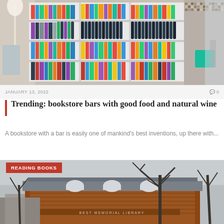[Figure (photo): Interior of a bookstore bar with white shelving units filled with colorful books and wine bottles, a floor lamp on the left, and a teal chair on the right against a mosaic wall]
JANUARY 13, 2022
0
Trending: bookstore bars with good food and natural wine
A bookstore with a bar is easily one of mankind's best inventions, up there with...
[Figure (photo): Exterior of Best Memorial Library, a brick building with arched windows, surrounded by bare trees in winter]
READING BOOKS